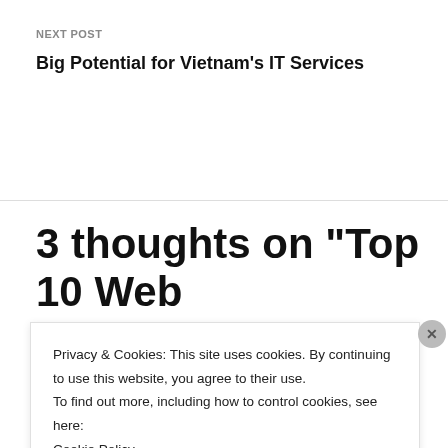NEXT POST
Big Potential for Vietnam’s IT Services
3 thoughts on “Top 10 Web Development Trends &
Privacy & Cookies: This site uses cookies. By continuing to use this website, you agree to their use.
To find out more, including how to control cookies, see here:
Cookie Policy
Close and accept